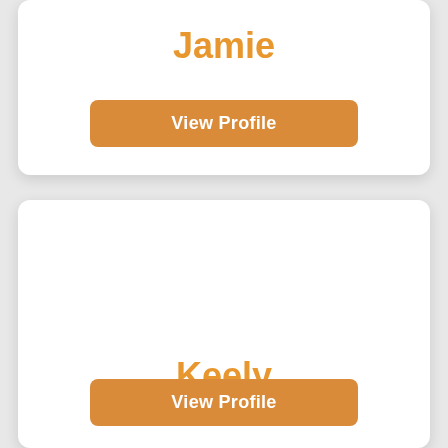Jamie
View Profile
Keely
View Profile